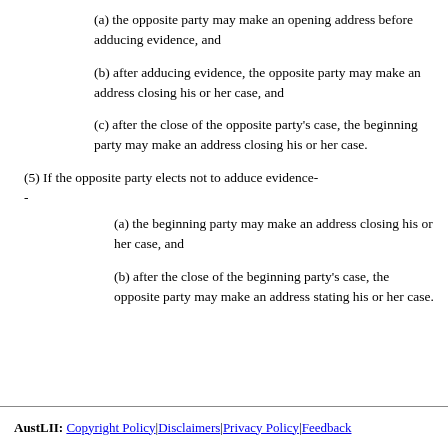(a) the opposite party may make an opening address before adducing evidence, and
(b) after adducing evidence, the opposite party may make an address closing his or her case, and
(c) after the close of the opposite party's case, the beginning party may make an address closing his or her case.
(5) If the opposite party elects not to adduce evidence-
-
(a) the beginning party may make an address closing his or her case, and
(b) after the close of the beginning party's case, the opposite party may make an address stating his or her case.
AustLII: Copyright Policy | Disclaimers | Privacy Policy | Feedback